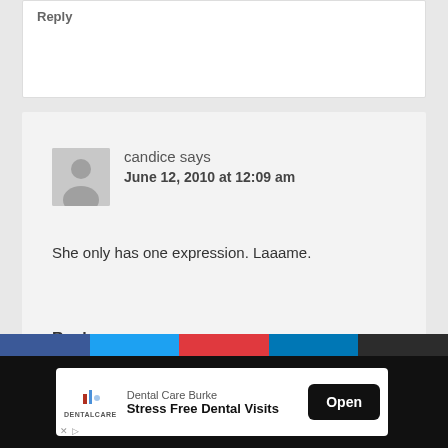Reply
candice says
June 12, 2010 at 12:09 am
She only has one expression. Laaame.
Reply
[Figure (infographic): Mobile advertisement banner for Dental Care Burke - Stress Free Dental Visits with Open button]